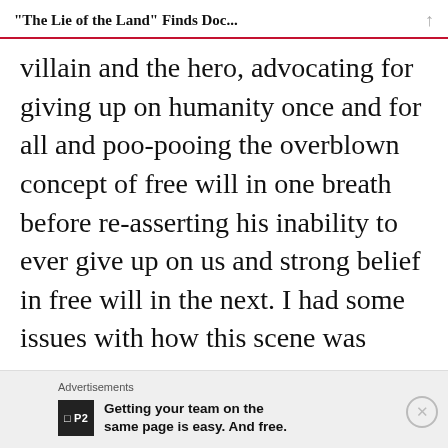“The Lie of the Land” Finds Doc...
villain and the hero, advocating for giving up on humanity once and for all and poo-pooing the overblown concept of free will in one breath before re-asserting his inability to ever give up on us and strong belief in free will in the next. I had some issues with how this scene was
Advertisements
Getting your team on the same page is easy. And free.